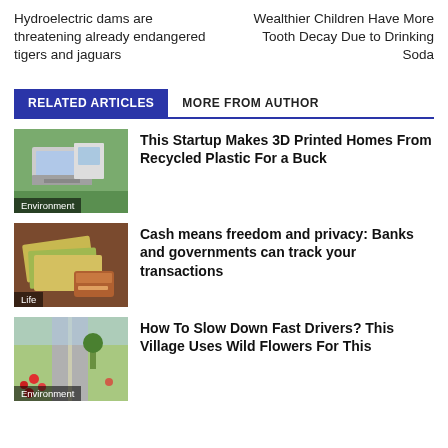Hydroelectric dams are threatening already endangered tigers and jaguars
Wealthier Children Have More Tooth Decay Due to Drinking Soda
RELATED ARTICLES
MORE FROM AUTHOR
[Figure (photo): 3D printed modern home exterior with green surroundings]
Environment
This Startup Makes 3D Printed Homes From Recycled Plastic For a Buck
[Figure (photo): Euro banknotes and credit cards on a table]
Life
Cash means freedom and privacy: Banks and governments can track your transactions
[Figure (photo): Road through a village with wild red flowers on the side]
Environment
How To Slow Down Fast Drivers? This Village Uses Wild Flowers For This